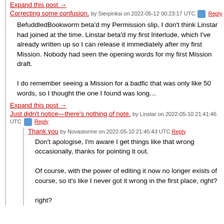Expand this post →
Correcting some confusion. by Sierpinksi on 2022-05-12 00:23:17 UTC  Reply
BefuddledBookworm beta'd my Permission slip, I don't think Linstar had joined at the time. Linstar beta'd my first Interlude, which I've already written up so I can release it immediately after my first Mission. Nobody had seen the opening words for my first Mission draft.

I do remember seeing a Mission for a badfic that was only like 50 words, so I thought the one I found was long…
Expand this post →
Just didn't notice—there's nothing of note. by Linstar on 2022-05-10 21:41:46 UTC  Reply
Thank you by Novastorme on 2022-05-10 21:45:43 UTC  Reply
Don't apologise, I'm aware I get things like that wrong occasionally, thanks for pointing it out.

Of course, with the power of editing it now no longer exists of course, so it's like I never got it wrong in the first place, right?

right?